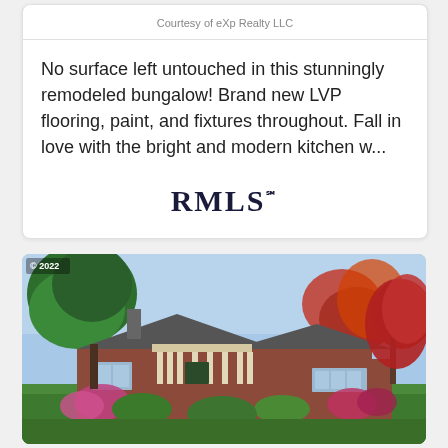Courtesy of eXp Realty LLC
No surface left untouched in this stunningly remodeled bungalow! Brand new LVP flooring, paint, and fixtures throughout. Fall in love with the bright and modern kitchen w...
[Figure (logo): RMLS logo — stylized serif wordmark in dark navy]
[Figure (photo): Exterior photo of a single-story brick bungalow with a covered front porch, surrounded by lush green trees and flowering shrubs. Red-leaf Japanese maple visible on the right. Clear blue sky. Year 2022 watermark in upper left corner.]